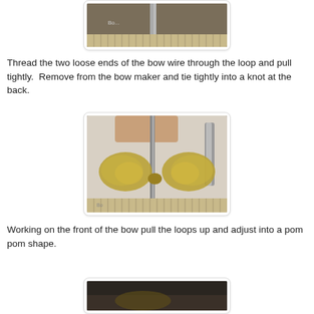[Figure (photo): Photo of bow wire on bow maker tool, top of page (partially cropped)]
Thread the two loose ends of the bow wire through the loop and pull tightly.  Remove from the bow maker and tie tightly into a knot at the back.
[Figure (photo): Photo of a hand holding a bow on the bow maker tool, showing loops pulled up on each side, with ruler visible at bottom]
Working on the front of the bow pull the loops up and adjust into a pom pom shape.
[Figure (photo): Photo at bottom of page, partially visible, dark image of bow making step]